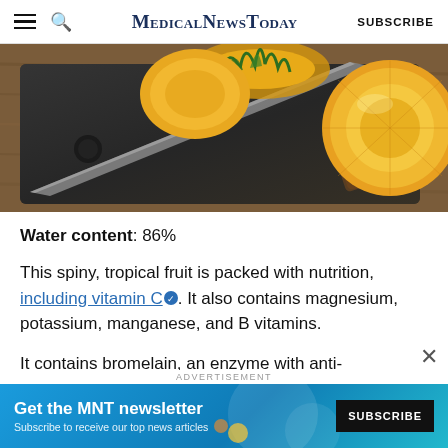MedicalNewsToday | SUBSCRIBE
[Figure (photo): Sliced pineapple rings on a dark wooden cutting board with a large knife, viewed from above on a wooden table surface.]
Water content: 86%
This spiny, tropical fruit is packed with nutrition, including vitamin C. It also contains magnesium, potassium, manganese, and B vitamins.
It contains bromelain, an enzyme with anti-
ADVERTISEMENT
Get the MNT newsletter. Subscribe to receive our top news articles. SUBSCRIBE